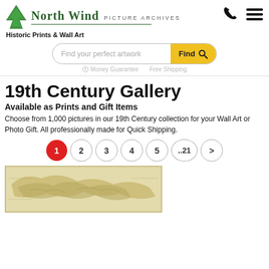[Figure (logo): North Wind Picture Archives logo with tree icon]
Historic Prints & Wall Art
[Figure (other): Search bar with 'Find your perfect artwork' placeholder and yellow Find button]
Money Guarantee ... Free Shipping
19th Century Gallery
Available as Prints and Gift Items
Choose from 1,000 pictures in our 19th Century collection for your Wall Art or Photo Gift. All professionally made for Quick Shipping.
[Figure (other): Pagination: 1 (active, red), 2, 3, 4, 5, ..21, >]
[Figure (map): Thumbnail of a 19th century map showing geographic regions]